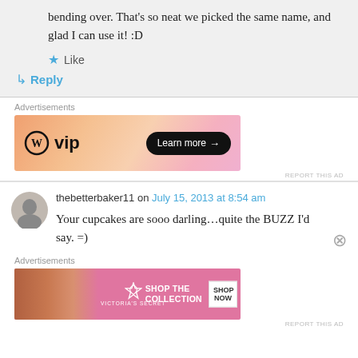bending over. That's so neat we picked the same name, and glad I can use it! :D
Like
Reply
[Figure (other): WordPress VIP advertisement banner with gradient orange/pink background and Learn more button]
thebetterbaker11 on July 15, 2013 at 8:54 am
Your cupcakes are sooo darling…quite the BUZZ I'd say. =)
[Figure (other): Victoria's Secret advertisement banner: Shop the Collection, Shop Now button]